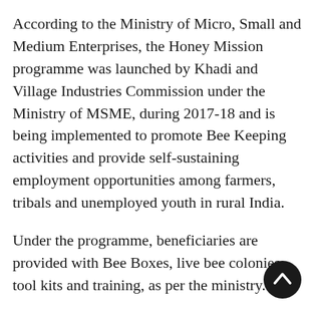According to the Ministry of Micro, Small and Medium Enterprises, the Honey Mission programme was launched by Khadi and Village Industries Commission under the Ministry of MSME, during 2017-18 and is being implemented to promote Bee Keeping activities and provide self-sustaining employment opportunities among farmers, tribals and unemployed youth in rural India.
Under the programme, beneficiaries are provided with Bee Boxes, live bee colonies, tool kits and training, as per the ministry.
[Figure (other): Dark circular scroll-to-top button with a white upward chevron arrow]